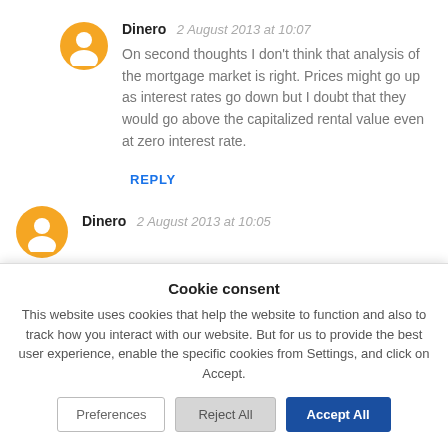[Figure (illustration): Orange circular Blogger avatar icon with white person silhouette]
Dinero  2 August 2013 at 10:07
On second thoughts I don't think that analysis of the mortgage market is right. Prices might go up as interest rates go down but I doubt that they would go above the capitalized rental value even at zero interest rate.
REPLY
[Figure (illustration): Orange circular Blogger avatar icon with white person silhouette]
Dinero  2 August 2013 at 10:05
Cookie consent
This website uses cookies that help the website to function and also to track how you interact with our website. But for us to provide the best user experience, enable the specific cookies from Settings, and click on Accept.
Preferences
Reject All
Accept All